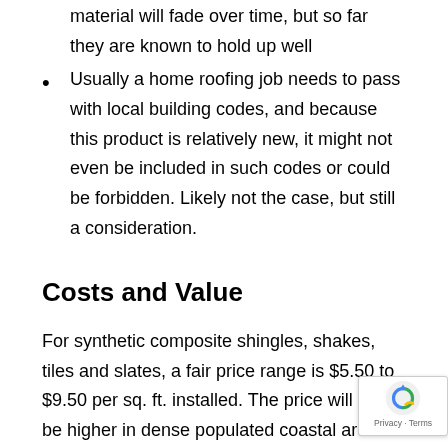material will fade over time, but so far they are known to hold up well
Usually a home roofing job needs to pass with local building codes, and because this product is relatively new, it might not even be included in such codes or could be forbidden. Likely not the case, but still a consideration.
Costs and Value
For synthetic composite shingles, shakes, tiles and slates, a fair price range is $5.50 to $9.50 per sq. ft. installed. The price will likely be higher in densely populated coastal areas with high costs of doing business including labor cost. With that in mind, the